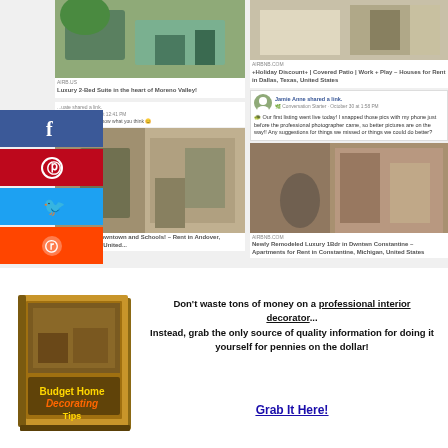[Figure (screenshot): Screenshot collage of Airbnb/rental listings shared on social media, with social share buttons (Facebook, Pinterest, Twitter, Reddit) on the left side]
[Figure (photo): Book cover: Budget Home Decorating Tips]
Don't waste tons of money on a professional interior decorator... Instead, grab the only source of quality information for doing it yourself for pennies on the dollar!
Grab It Here!